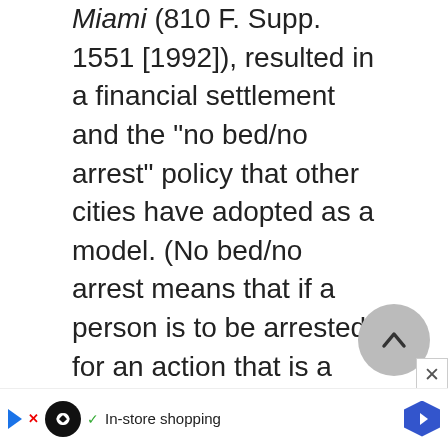Miami (810 F. Supp. 1551 [1992]), resulted in a financial settlement and the "no bed/no arrest" policy that other cities have adopted as a model. (No bed/no arrest means that if a person is to be arrested for an action that is a result of being homeless, that person must first be referred to an appropriate, available, and accessible shelter bed. If the person declines that bed, then he or she may be arrested. The city of Miami used some of the set...